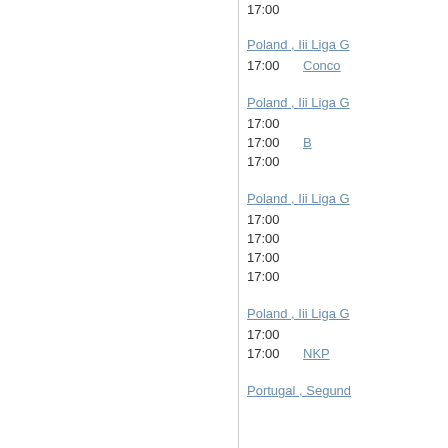17:00
Poland , Iii Liga G
17:00    Conco
Poland , Iii Liga G
17:00
17:00    B
17:00
Poland , Iii Liga G
17:00
17:00
17:00
17:00
Poland , Iii Liga G
17:00
17:00    NKP
Portugal , Segund